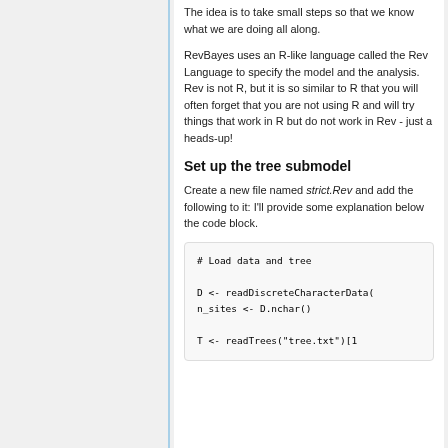The idea is to take small steps so that we know what we are doing all along.
RevBayes uses an R-like language called the Rev Language to specify the model and the analysis. Rev is not R, but it is so similar to R that you will often forget that you are not using R and will try things that work in R but do not work in Rev - just a heads-up!
Set up the tree submodel
Create a new file named strict.Rev and add the following to it: I'll provide some explanation below the code block.
# Load data and tree

D <- readDiscreteCharacterData(
n_sites <- D.nchar()

T <- readTrees("tree.txt")[1